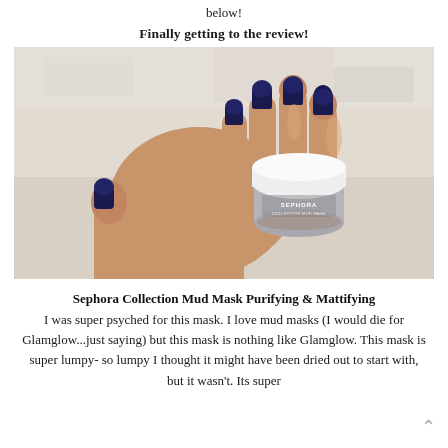below!
Finally getting to the review!
[Figure (photo): A hand with dark navy blue nails holding a small Sephora Collection mud mask jar against a white textured wall background.]
Sephora Collection Mud Mask Purifying & Mattifying
I was super psyched for this mask. I love mud masks (I would die for Glamglow...just saying) but this mask is nothing like Glamglow. This mask is super lumpy- so lumpy I thought it might have been dried out to start with, but it wasn't. Its super